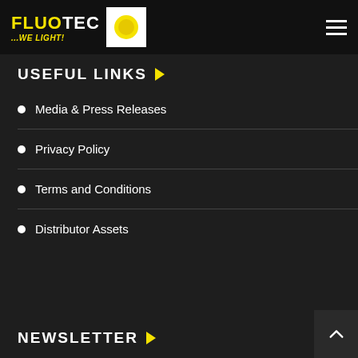FLUOTEC ...WE LIGHT! [logo]
USEFUL LINKS
Media & Press Releases
Privacy Policy
Terms and Conditions
Distributor Assets
NEWSLETTER